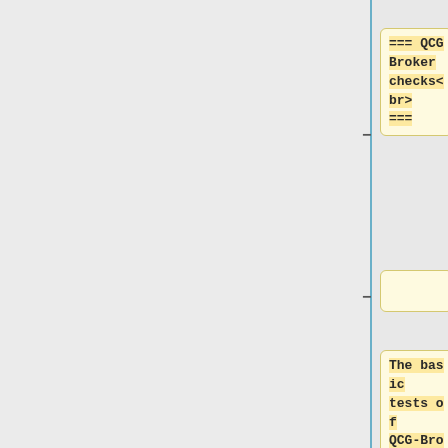=== QCG Broker checks<br> ===
The basic tests of QCG-Broker service may be proceeded with help of qcg-simple-client, the software that provides a set of commands